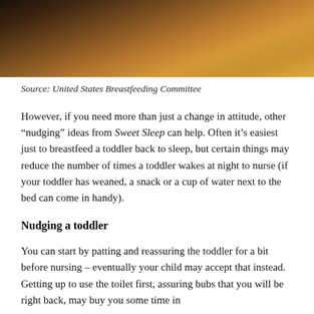[Figure (photo): Photo of a breastfeeding scene with warm orange/amber tones, partially cropped at top of page]
Source: United States Breastfeeding Committee
However, if you need more than just a change in attitude, other “nudging” ideas from Sweet Sleep can help. Often it’s easiest just to breastfeed a toddler back to sleep, but certain things may reduce the number of times a toddler wakes at night to nurse (if your toddler has weaned, a snack or a cup of water next to the bed can come in handy).
Nudging a toddler
You can start by patting and reassuring the toddler for a bit before nursing – eventually your child may accept that instead. Getting up to use the toilet first, assuring bubs that you will be right back, may buy you some time in